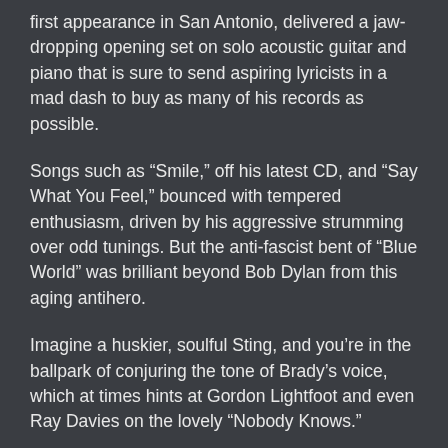first appearance in San Antonio, delivered a jaw-dropping opening set on solo acoustic guitar and piano that is sure to send aspiring lyricists in a mad dash to buy as many of his records as possible.
Songs such as "Smile," off his latest CD, and "Say What You Feel," bounced with tempered enthusiasm, driven by his aggressive strumming over odd tunings. But the anti-fascist bent of "Blue World" was brilliant beyond Bob Dylan from this aging antihero.
Imagine a huskier, soulful Sting, and you’re in the ballpark of conjuring the tone of Brady’s voice, which at times hints at Gordon Lightfoot and even Ray Davies on the lovely “Nobody Knows.”
He is famous as an interpreter of traditional folk songs, and his own recordings featured ["The Island..."